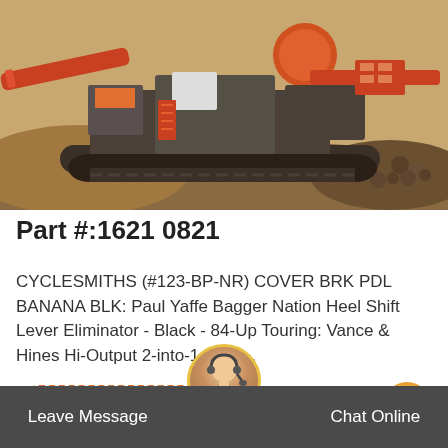[Figure (photo): Industrial mining/crushing machinery with red and orange components on tracked undercarriage, surrounded by crushed rock and dirt terrain]
Part #:1621 0821
CYCLESMITHS (#123-BP-NR) COVER BRK PDL BANANA BLK: Paul Yaffe Bagger Nation Heel Shift Lever Eliminator - Black - 84-Up Touring: Vance & Hines Hi-Output 2-into-1 Shor…
Get Price
Leave Message
Chat Online